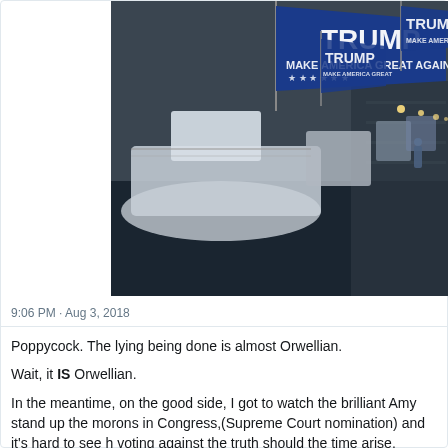[Figure (photo): Aerial view of a marina with boats flying Trump 'Make America Great Again' flags lined up along a dock. Large blue Trump flags are prominently visible in the foreground.]
9:06 PM · Aug 3, 2018
Poppycock. The lying being done is almost Orwellian.
Wait, it IS Orwellian.
In the meantime, on the good side, I got to watch the brilliant Amy stand up the morons in Congress,(Supreme Court nomination) and it's hard to see h voting against the truth should the time arise.